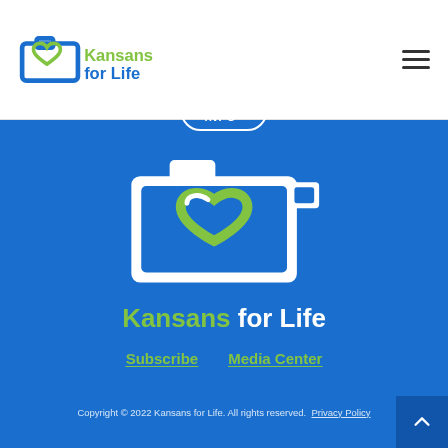[Figure (logo): Kansans for Life logo in header - camera with heart shape in blue and green, with text 'Kansans for Life']
MORE INFO
[Figure (logo): Large Kansans for Life logo centered on blue background - white and green camera with heart, with 'Kansans for Life' text below in green and white]
Subscribe   Media Center
Copyright © 2022 Kansans for Life. All rights reserved. Privacy Policy